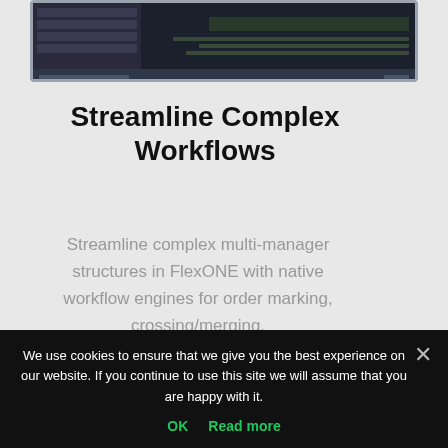[Figure (screenshot): Screenshot of a dark-themed software UI (FlexONE) showing a dashboard or workflow interface with dark panels, table rows, and text fields.]
Streamline Complex Workflows
Streamline complex multi-manager structures in FlexONE with native workflow engines for order marking, crossing/merging,
We use cookies to ensure that we give you the best experience on our website. If you continue to use this site we will assume that you are happy with it.
OK  Read more